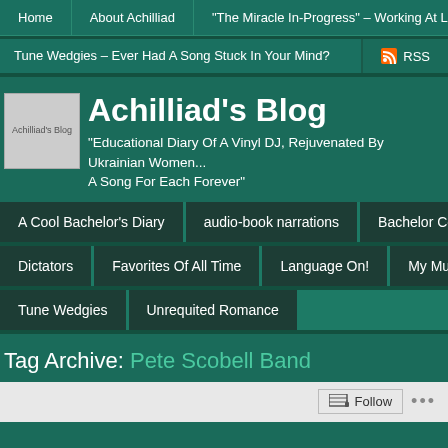Home | About Achilliad | "The Miracle In-Progress" – Working At Long-Dist...
Tune Wedgies – Ever Had A Song Stuck In Your Mind? | RSS
[Figure (logo): Achilliad's Blog logo placeholder image]
Achilliad's Blog
"Educational Diary Of A Vinyl DJ, Rejuvenated By Ukrainian Women... A Song For Each Forever"
A Cool Bachelor's Diary
audio-book narrations
Bachelor Cooking R...
Dictators
Favorites Of All Time
Language On!
My Music Revie...
Tune Wedgies
Unrequited Romance
Tag Archive: Pete Scobell Band